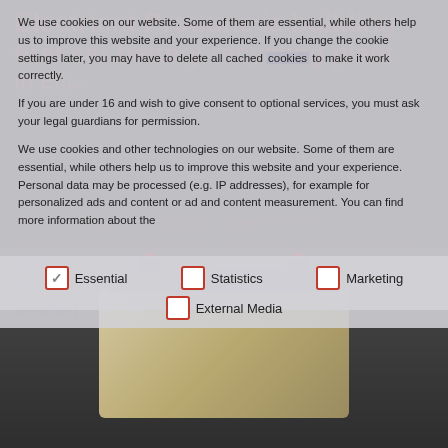We use cookies on our website. Some of them are essential, while others help us to improve this website and your experience. If you change the cookie settings later, you may have to delete all cached cookies to make it work correctly.
If you are under 16 and wish to give consent to optional services, you must ask your legal guardians for permission.
We use cookies and other technologies on our website. Some of them are essential, while others help us to improve this website and your experience. Personal data may be processed (e.g. IP addresses), for example for personalized ads and content or ad and content measurement. You can find more information about the
Essential
Statistics
Marketing
External Media
[Figure (photo): Car battery with red terminals on a dark background]